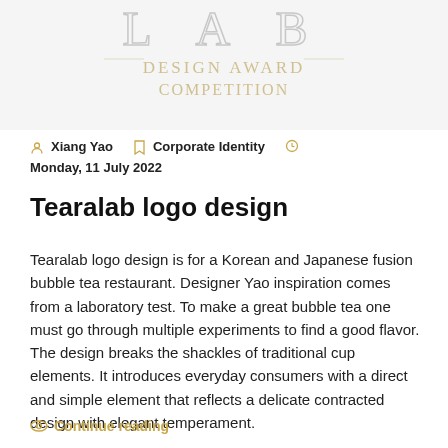[Figure (logo): Tearalab logo and design award competition text, shown faded/watermarked in light gray on white background. Letters L A B visible at top, with 'DESIGN AWARD COMPETITION' text below in decorative style.]
Xiang Yao   Corporate Identity   Monday, 11 July 2022
Tearalab logo design
Tearalab logo design is for a Korean and Japanese fusion bubble tea restaurant. Designer Yao inspiration comes from a laboratory test. To make a great bubble tea one must go through multiple experiments to find a good flavor. The design breaks the shackles of traditional cup elements. It introduces everyday consumers with a direct and simple element that reflects a delicate contracted design with elegant temperament.
Continue reading